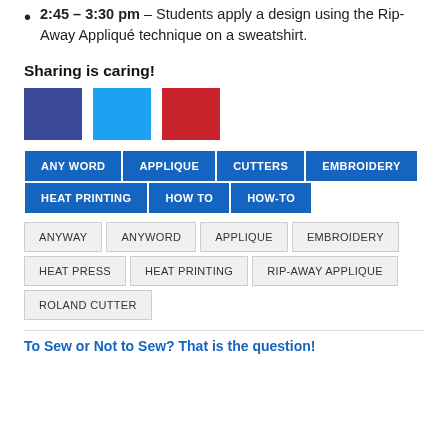2:45 – 3:30 pm – Students apply a design using the Rip-Away Appliqué technique on a sweatshirt.
Sharing is caring!
[Figure (infographic): Three social sharing buttons: Facebook (dark blue), Twitter (light blue), Pinterest (red)]
ANY WORD  APPLIQUE  CUTTERS  EMBROIDERY  HEAT PRINTING  HOW TO  HOW-TO (blue tag buttons)
ANYWAY  ANYWORD  APPLIQUE  EMBROIDERY  HEAT PRESS  HEAT PRINTING  RIP-AWAY APPLIQUE  ROLAND CUTTER (gray tag buttons)
To Sew or Not to Sew? That is the question!